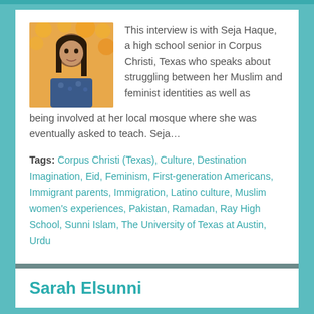This interview is with Seja Haque, a high school senior in Corpus Christi, Texas who speaks about struggling between her Muslim and feminist identities as well as being involved at her local mosque where she was eventually asked to teach. Seja…
Tags: Corpus Christi (Texas), Culture, Destination Imagination, Eid, Feminism, First-generation Americans, Immigrant parents, Immigration, Latino culture, Muslim women's experiences, Pakistan, Ramadan, Ray High School, Sunni Islam, The University of Texas at Austin, Urdu
Sarah Elsunni
[Figure (photo): Partial photo of Sarah Elsunni at the bottom of the page]
This interview is with Sarah Elsunni, a...